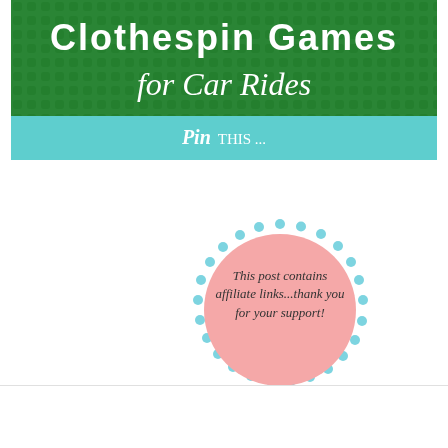[Figure (infographic): Banner graphic with dark green background showing 'Clothespin Games' in white bold text, cursive 'for Car Rides' below, and teal strip at bottom with 'Pin THIS ...' text]
[Figure (infographic): Circular badge with pink fill and light blue dotted border containing text: 'This post contains affiliate links...thank you for your support!']